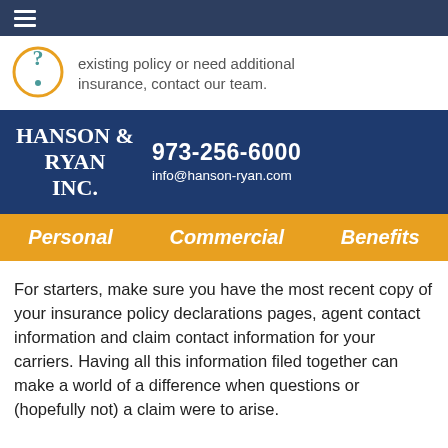existing policy or need additional insurance, contact our team.
[Figure (logo): Hanson & Ryan Inc. logo with phone number 973-256-6000 and email info@hanson-ryan.com on dark blue background]
Personal   Commercial   Benefits
For starters, make sure you have the most recent copy of your insurance policy declarations pages, agent contact information and claim contact information for your carriers. Having all this information filed together can make a world of a difference when questions or (hopefully not) a claim were to arise.